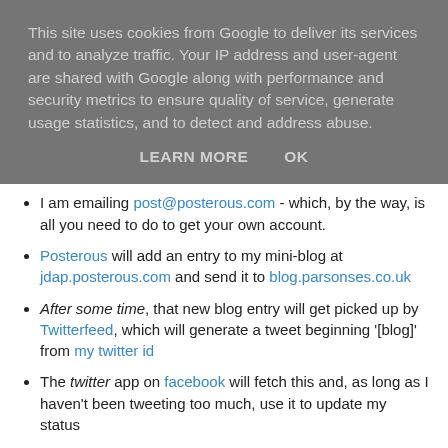This site uses cookies from Google to deliver its services and to analyze traffic. Your IP address and user-agent are shared with Google along with performance and security metrics to ensure quality of service, generate usage statistics, and to detect and address abuse.
LEARN MORE   OK
I am emailing post@posterous.com - which, by the way, is all you need to do to get your own account.
Posterous will add an entry to my mini-blog at jdap.posterous.com and send it to blog.parsonses.co.uk
After some time, that new blog entry will get picked up by Twitterfeed, which will generate a tweet beginning '[blog]' from my twitter id
The twitter app on facebook will fetch this and, as long as I haven't been tweeting too much, use it to update my status